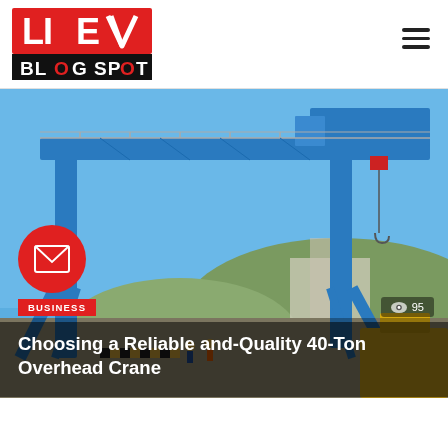LIVE BLOG SPOT
[Figure (photo): A large blue gantry/overhead crane photographed at an industrial site with mountains and blue sky in the background. Workers and yellow equipment visible at the base.]
BUSINESS
95
Choosing a Reliable and-Quality 40-Ton Overhead Crane